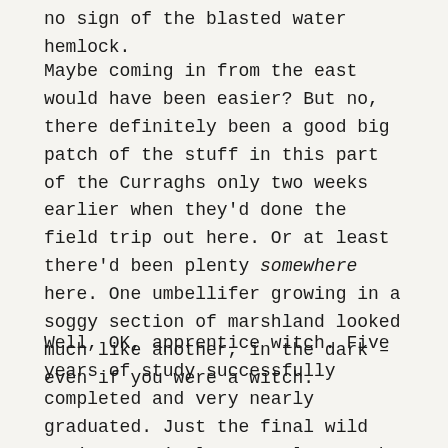no sign of the blasted water hemlock.
Maybe coming in from the east would have been easier? But no, there definitely been a good big patch of the stuff in this part of the Curraghs only two weeks earlier when they'd done the field trip out here. Or at least there'd been plenty somewhere here. One umbellifer growing in a soggy section of marshland looked much like another, in the dark – even if you were a witch.
Well, OK, apprentice witch. Five years of study successfully completed and very nearly graduated. Just the final wild magic practical to complete – the time-honoured ritual that, in its current form, involved the apprentices being dropped off by minibus at dusk, somewhere on